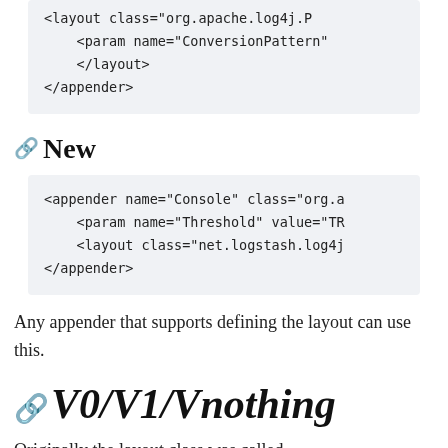<layout class="org.apache.log4j.P
    <param name="ConversionPattern"
    </layout>
</appender>
New
<appender name="Console" class="org.a
    <param name="Threshold" value="TR
    <layout class="net.logstash.log4j
</appender>
Any appender that supports defining the layout can use this.
V0/V1/Vnothing
Originally the layout class was called JSONEventLayout. This was originally written